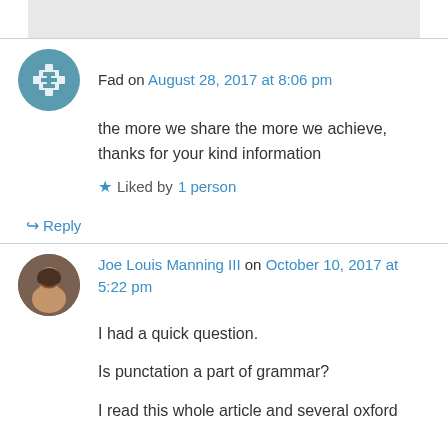Fad on August 28, 2017 at 8:06 pm
the more we share the more we achieve, thanks for your kind information
Liked by 1 person
Reply
Joe Louis Manning III on October 10, 2017 at 5:22 pm
I had a quick question.
Is punctation a part of grammar?
I read this whole article and several oxford